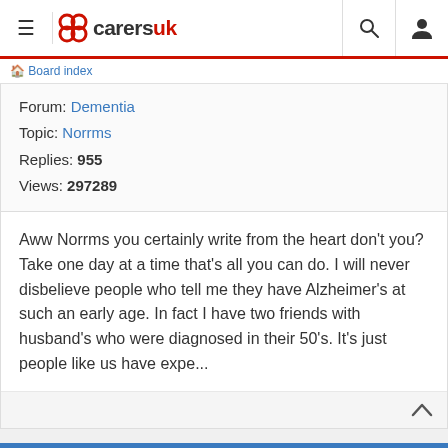carersuk — navigation bar with hamburger menu, logo, search and user icons
Board index
Forum: Dementia
Topic: Norrms
Replies: 955
Views: 297289
Aww Norrms you certainly write from the heart don't you? Take one day at a time that's all you can do. I will never disbelieve people who tell me they have Alzheimer's at such an early age. In fact I have two friends with husband's who were diagnosed in their 50's. It's just people like us have expe...
Hi Carol, I've just seen your